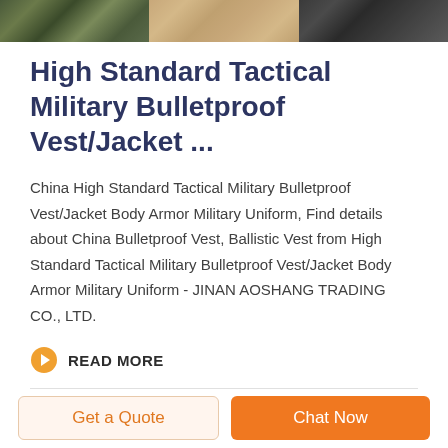[Figure (photo): Three product thumbnail images side by side: camouflage pattern fabric (green/grey), desert tan tactical vest, and dark/black tactical vest]
High Standard Tactical Military Bulletproof Vest/Jacket ...
China High Standard Tactical Military Bulletproof Vest/Jacket Body Armor Military Uniform, Find details about China Bulletproof Vest, Ballistic Vest from High Standard Tactical Military Bulletproof Vest/Jacket Body Armor Military Uniform - JINAN AOSHANG TRADING CO., LTD.
READ MORE
Get a Quote
Chat Now